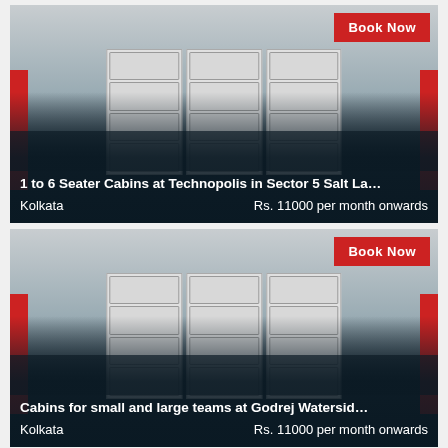[Figure (photo): Office cabin interior showing rows of black chairs, wooden desks, red partition dividers on sides, and white locker units in the background. Semi-dark overlay at bottom with text overlay. 'Book Now' button in red at top right.]
1 to 6 Seater Cabins at Technopolis in Sector 5 Salt La...
Kolkata   Rs. 11000 per month onwards
[Figure (photo): Same office cabin interior as above, showing black chairs, wooden desks, red partition dividers, and white locker units in background. Semi-dark overlay at bottom with text overlay. 'Book Now' button in red at top right.]
Cabins for small and large teams at Godrej Watersid...
Kolkata   Rs. 11000 per month onwards